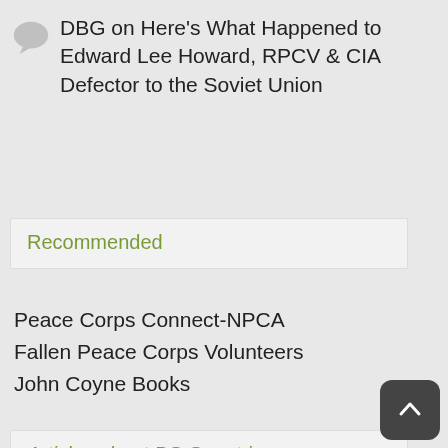DBG on Here's What Happened to Edward Lee Howard, RPCV & CIA Defector to the Soviet Union
Recommended
Peace Corps Connect-NPCA
Fallen Peace Corps Volunteers
John Coyne Books
Articles about PC Countries
Afghanistan Africa Albania Armenia Bangladesh Belize Bolivia Botswana Brazil Burkina Faso (Upper Volta) Cameroon Cape Verde Central Africa Republic Chad Chile